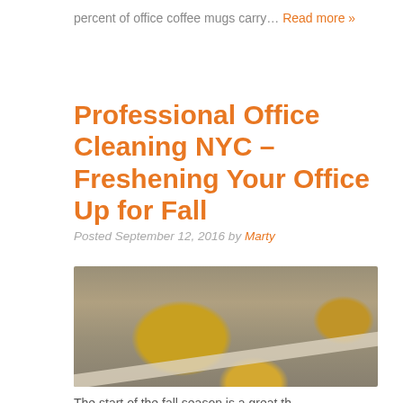percent of office coffee mugs carry… Read more »
Professional Office Cleaning NYC – Freshening Your Office Up for Fall
Posted September 12, 2016 by Marty
[Figure (photo): Fallen autumn leaves scattered on a sidewalk or pavement surface, with a white painted stripe visible, photographed from above.]
The start of the fall season is a great th…